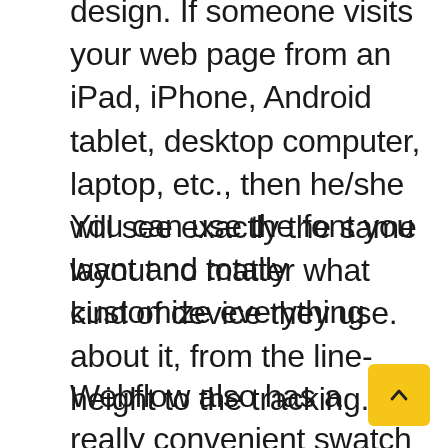design. If someone visits your web page from an iPad, iPhone, Android tablet, desktop computer, laptop, etc., then he/she will see exactly the same layout no matter what kind of device they use.
You can use the font you want and totally customize everything about it, from the line-height to the tracking.
Webflow also has a really convenient swatch system that allows everything on the site to match. It's an awesome feature